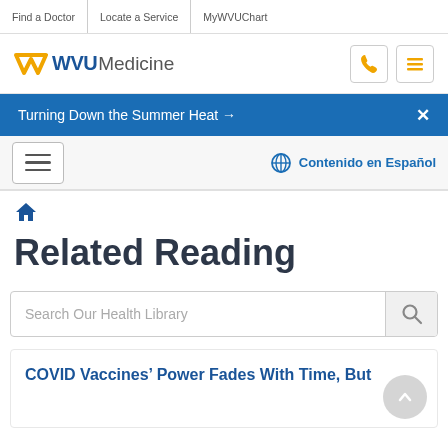Find a Doctor | Locate a Service | MyWVUChart
[Figure (logo): WVU Medicine logo with flying WV mark in gold and blue text]
Turning Down the Summer Heat →
Contenido en Español
[Figure (illustration): Home icon breadcrumb]
Related Reading
Search Our Health Library
COVID Vaccines' Power Fades With Time, But